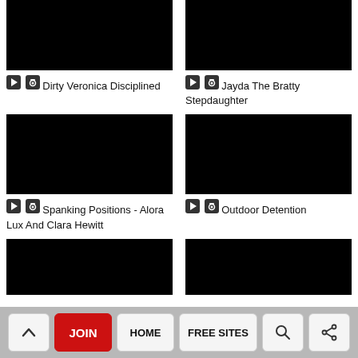[Figure (photo): Black thumbnail image for Dirty Veronica Disciplined video]
▶ 📷 Dirty Veronica Disciplined
[Figure (photo): Black thumbnail image for Jayda The Bratty Stepdaughter video]
▶ 📷 Jayda The Bratty Stepdaughter
[Figure (photo): Black thumbnail image for Spanking Positions - Alora Lux And Clara Hewitt video]
▶ 📷 Spanking Positions - Alora Lux And Clara Hewitt
[Figure (photo): Black thumbnail image for Outdoor Detention video]
▶ 📷 Outdoor Detention
[Figure (photo): Black thumbnail image partial at bottom left]
[Figure (photo): Black thumbnail image partial at bottom right]
^ JOIN HOME FREE SITES 🔍 < navigation bar